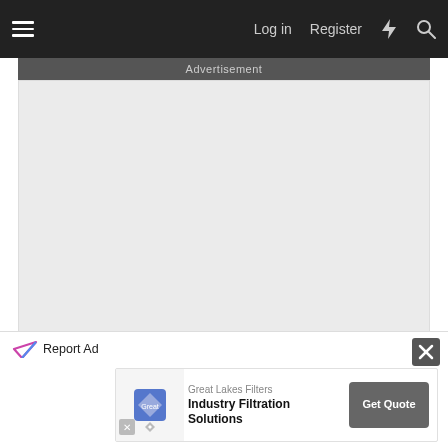Log in  Register
Advertisement
[Figure (other): Large empty advertisement placeholder area with light grey background]
Report Ad
Report Ad
[Figure (other): Great Lakes Filters advertisement banner: Industry Filtration Solutions, Get Quote button]